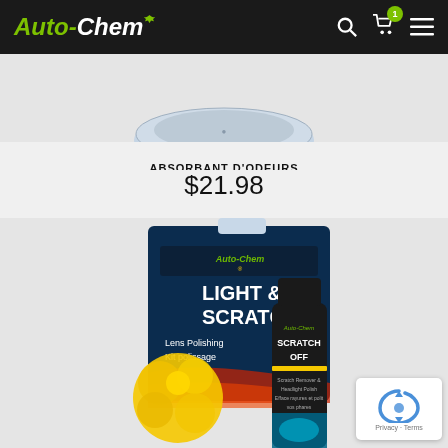[Figure (logo): Auto-Chem logo with green maple leaf, white and green italic bold text on dark header bar]
[Figure (photo): Partial top view of a round grey/blue odor absorber product container on light grey background]
ABSORBANT D'ODEURS
$21.98
[Figure (photo): Auto-Chem Light & Scratch Lens Polishing Kit in dark blue blister packaging with a yellow microfiber applicator pad and Scratch Off bottle visible]